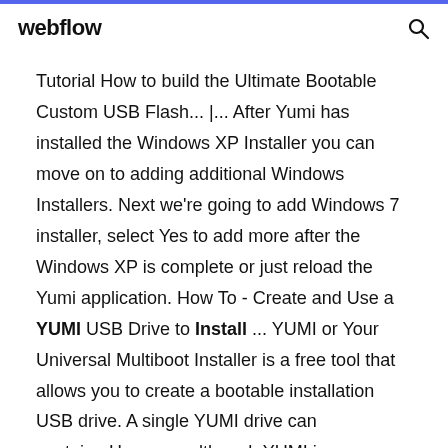webflow
Tutorial How to build the Ultimate Bootable Custom USB Flash... |... After Yumi has installed the Windows XP Installer you can move on to adding additional Windows Installers. Next we're going to add Windows 7 installer, select Yes to add more after the Windows XP is complete or just reload the Yumi application. How To - Create and Use a YUMI USB Drive to Install ... YUMI or Your Universal Multiboot Installer is a free tool that allows you to create a bootable installation USB drive. A single YUMI drive can contain...However, although YUMI is an open-source (free) tool, you may have to buy a licensed copy of the operating system (